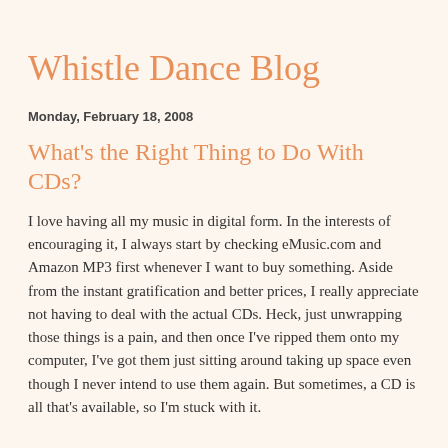Whistle Dance Blog
Monday, February 18, 2008
What's the Right Thing to Do With CDs?
I love having all my music in digital form. In the interests of encouraging it, I always start by checking eMusic.com and Amazon MP3 first whenever I want to buy something. Aside from the instant gratification and better prices, I really appreciate not having to deal with the actual CDs. Heck, just unwrapping those things is a pain, and then once I've ripped them onto my computer, I've got them just sitting around taking up space even though I never intend to use them again. But sometimes, a CD is all that's available, so I'm stuck with it.